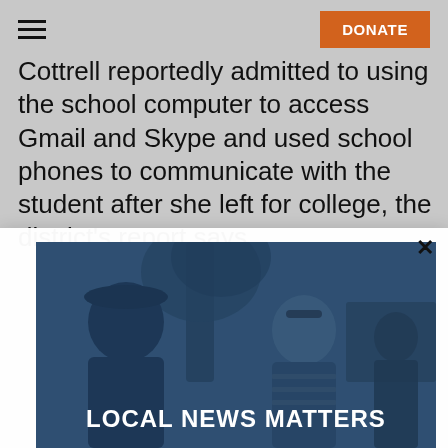DONATE
Cottrell reportedly admitted to using the school computer to access Gmail and Skype and used school phones to communicate with the student after she left for college, the district's report says.
[Figure (photo): A blue-tinted photo showing people outdoors near a tree, with a woman facing the camera. Overlaid text reads LOCAL NEWS MATTERS.]